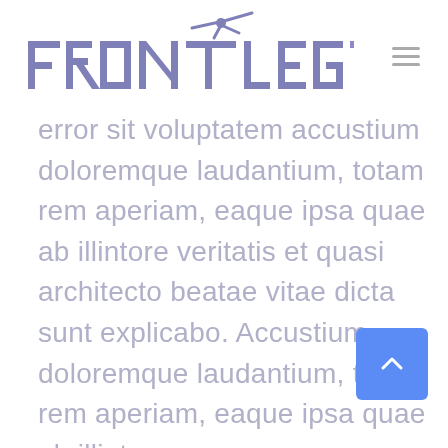[Figure (logo): FRONTLEGS logo with a gymnast/dancer silhouette incorporated into the letter T, rendered in medium purple/periwinkle color]
error sit voluptatem accustium doloremque laudantium, totam rem aperiam, eaque ipsa quae ab illintore veritatis et quasi architecto beatae vitae dicta sunt explicabo. Accustium doloremque laudantium, totam rem aperiam, eaque ipsa quae ab illintore